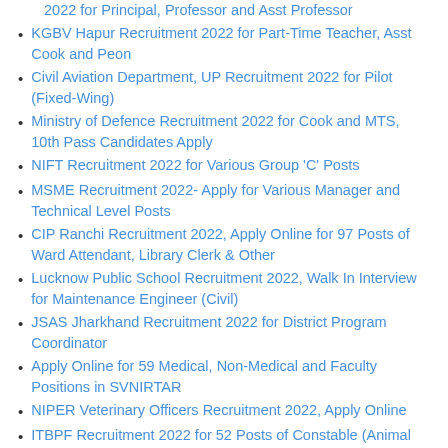2022 for Principal, Professor and Asst Professor
KGBV Hapur Recruitment 2022 for Part-Time Teacher, Asst Cook and Peon
Civil Aviation Department, UP Recruitment 2022 for Pilot (Fixed-Wing)
Ministry of Defence Recruitment 2022 for Cook and MTS, 10th Pass Candidates Apply
NIFT Recruitment 2022 for Various Group 'C' Posts
MSME Recruitment 2022- Apply for Various Manager and Technical Level Posts
CIP Ranchi Recruitment 2022, Apply Online for 97 Posts of Ward Attendant, Library Clerk & Other
Lucknow Public School Recruitment 2022, Walk In Interview for Maintenance Engineer (Civil)
JSAS Jharkhand Recruitment 2022 for District Program Coordinator
Apply Online for 59 Medical, Non-Medical and Faculty Positions in SVNIRTAR
NIPER Veterinary Officers Recruitment 2022, Apply Online
ITBPF Recruitment 2022 for 52 Posts of Constable (Animal Transport), Apply Online
Most Popular Govt Jobs, Updates & News
NLC Recruitment 2022, Apply Online for 226 Posts of